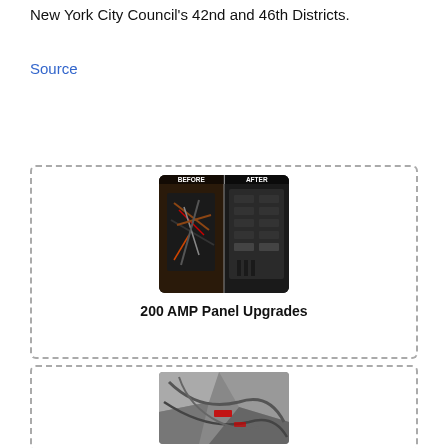New York City Council's 42nd and 46th Districts.
Source
[Figure (photo): Before and after photo of a 200 AMP electrical panel upgrade showing old messy wiring on the left and a clean new panel on the right.]
200 AMP Panel Upgrades
[Figure (photo): Photo of old or damaged electrical wiring, showing tangled/burned wires with red tape.]